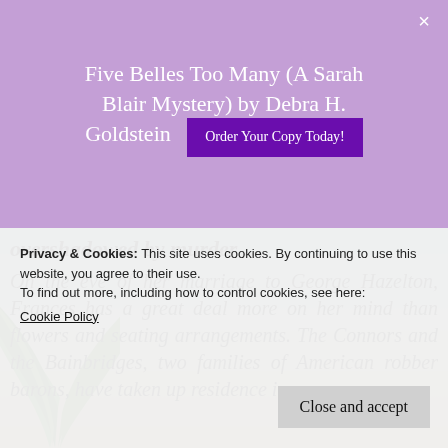Five Belles Too Many (A Sarah Blair Mystery) by Debra H. Goldstein
overshadowed by murder …
On the eve of her marriage to George Hazelton, Frances has a great deal more on her mind than flowers and seating arrangements. The Connors and the Bainbridges, two families of American robber barons, have taken up residence in
Privacy & Cookies: This site uses cookies. By continuing to use this website, you agree to their use. To find out more, including how to control cookies, see here: Cookie Policy
Close and accept